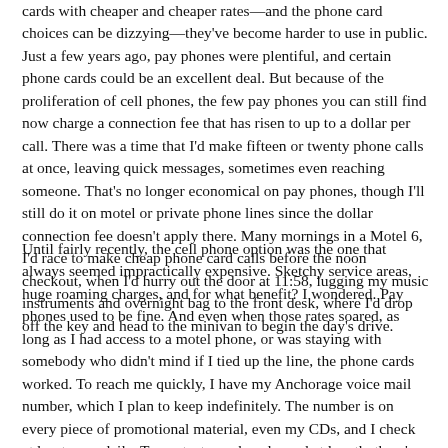cards with cheaper and cheaper rates—and the phone card choices can be dizzying—they've become harder to use in public. Just a few years ago, pay phones were plentiful, and certain phone cards could be an excellent deal. But because of the proliferation of cell phones, the few pay phones you can still find now charge a connection fee that has risen to up to a dollar per call. There was a time that I'd make fifteen or twenty phone calls at once, leaving quick messages, sometimes even reaching someone. That's no longer economical on pay phones, though I'll still do it on motel or private phone lines since the dollar connection fee doesn't apply there. Many mornings in a Motel 6, I'd race to make cheap phone card calls before the noon checkout, when I'd hurry out the door at 11:58, lugging my music instruments and overnight bag to the front desk, where I'd drop off the key and head to the minivan to begin the day's drive.
Until fairly recently, the cell phone option was the one that always seemed impractically expensive. Sketchy service areas, huge roaming charges, and for what benefit? I wondered. Pay phones used to be fine. And even when those rates soared, as long as I had access to a motel phone, or was staying with somebody who didn't mind if I tied up the line, the phone cards worked. To reach me quickly, I have my Anchorage voice mail number, which I plan to keep indefinitely. The number is on every piece of promotional material, even my CDs, and I check at least once daily. To contact me cheaply, and at length, there's the postal service. For years